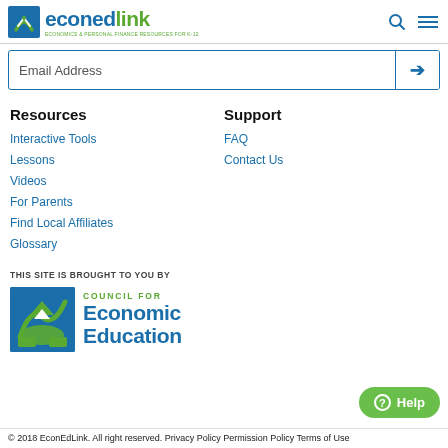econedlink
Email Address
Resources
Interactive Tools
Lessons
Videos
For Parents
Find Local Affiliates
Glossary
Support
FAQ
Contact Us
THIS SITE IS BROUGHT TO YOU BY
[Figure (logo): Council for Economic Education logo with blue square icon and green/blue text]
© 2018 EconEdLink. All right reserved. Privacy Policy Permission Policy Terms of Use